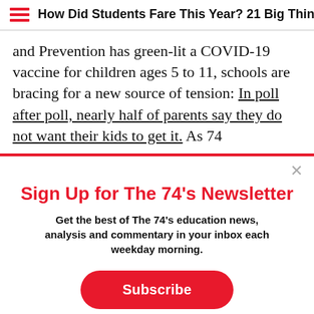How Did Students Fare This Year? 21 Big Things
and Prevention has green-lit a COVID-19 vaccine for children ages 5 to 11, schools are bracing for a new source of tension: In poll after poll, nearly half of parents say they do not want their kids to get it. As 74
Sign Up for The 74’s Newsletter
Get the best of The 74’s education news, analysis and commentary in your inbox each weekday morning.
Subscribe